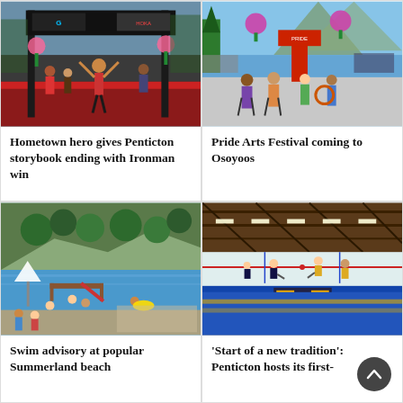[Figure (photo): Athlete crossing finish line at Ironman triathlon event with Garmin and ROKA banners overhead, crowd around]
Hometown hero gives Penticton storybook ending with Ironman win
[Figure (photo): People walking on a sunny outdoor plaza near a lakefront with flowers and trees]
Pride Arts Festival coming to Osoyoos
[Figure (photo): Beach scene with people swimming and playing at a lake near rocky cliffs and trees]
Swim advisory at popular Summerland beach
[Figure (photo): Indoor ice hockey rink with players on ice under large wooden roof structure and lights]
'Start of a new tradition': Penticton hosts its first-